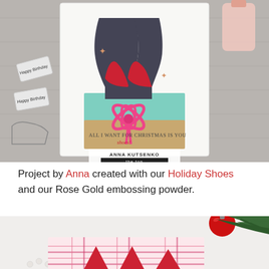[Figure (photo): Photo of a handmade holiday greeting card featuring two black high heel shoes with red soles sitting in a teal gift box with a pink ribbon bow. The card reads 'ALL I WANT FOR CHRISTMAS IS YOU shoes!' with a rose gold star embossing. Stamped name 'ANNA KUTSENKO / the ton' at the bottom. Background shows crafting supplies on a gray wooden surface.]
Project by Anna created with our Holiday Shoes and our Rose Gold embossing powder.
[Figure (photo): Partial photo showing a holiday scene with red Christmas ornament, pine branches, and what appears to be a pink plaid patterned card with red triangle/tree shapes, on a white surface with pearl beads.]